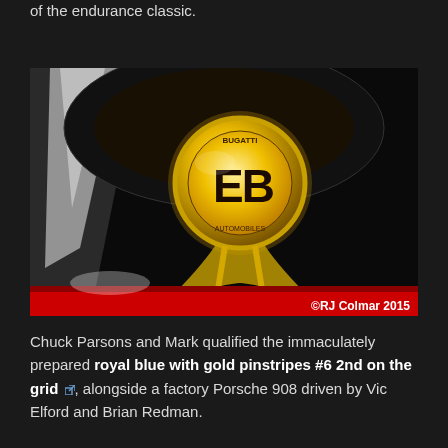of the endurance classic.
[Figure (photo): Close-up photograph of a Bugatti EB badge/emblem on a dark background. The circular gold badge displays 'EB' letters prominently, with the Bugatti name around the rim. A red stripe is visible at the bottom of the image. Copyright watermark '©RJ Colmar 2015' in the bottom right corner.]
©RJ Colmar 2015
Chuck Parsons and Mark qualified the immaculately prepared royal blue with gold pinstripes #6 2nd on the grid, alongside a factory Porsche 908 driven by Vic Elford and Brian Redman.